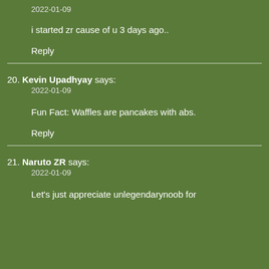2022-01-09
i started zr cause of u 3 days ago..
Reply
20. Kevin Upadhyay says: 2022-01-09
Fun Fact: Waffles are pancakes with abs.
Reply
21. Naruto ZR says: 2022-01-09
Let's just appreciate unlegendarynoob for